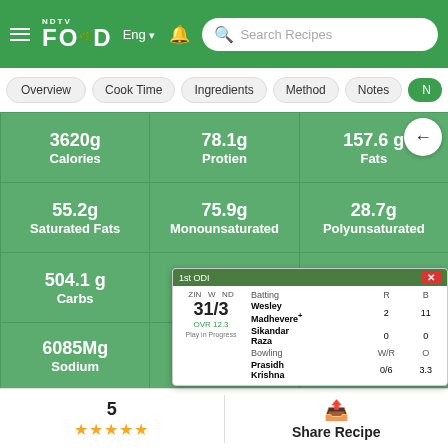NDTV Food — Search Recipes
Overview
Cook Time
Ingredients
Method
Notes
| Nutrient | Value |
| --- | --- |
| Calories | 3620g |
| Protien | 78.1g |
| Fats | 157.6 g |
| Saturated Fats | 55.2g |
| Monounsaturated | 75.9g |
| Polyunsaturated | 28.7g |
| Carbs | 504.1 g |
| Fibre | 33.8g |
| Cholesterol | 0Mg |
| Sodium | 6085Mg |
| Calcium | 72?Mg |
[Figure (screenshot): Cricket scorecard widget showing ZIM vs team match, score 31/3, batting: Wesley Madhevere+ 2 runs 11 balls, Sikandar Raza 0 runs 0 balls, bowling: Prasidh Krishna 0/6 3.3 overs]
5
★★★★★
Share Recipe